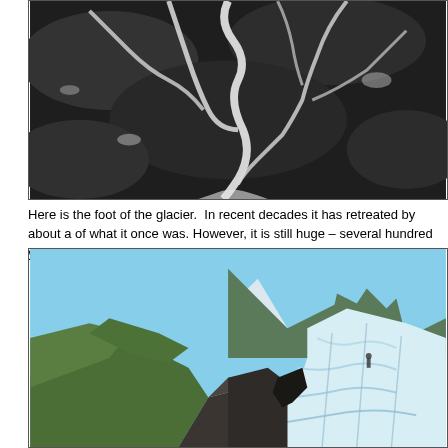[Figure (photo): Aerial or high-angle black and white photograph showing the foot of a glacier with white glacial meltwater streams winding across a dark rocky landscape]
Here is the foot of the glacier.  In recent decades it has retreated by about a of what it once was. However, it is still huge – several hundred yards acros
[Figure (photo): Color photograph showing the foot of a glacier with bright blue-white ice on the right, dark rocky moraine terrain on the left, green vegetated mountain slopes in the background under a blue sky]